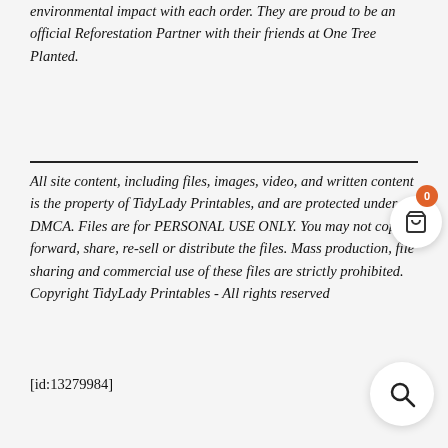environmental impact with each order. They are proud to be an official Reforestation Partner with their friends at One Tree Planted.
All site content, including files, images, video, and written content is the property of TidyLady Printables, and are protected under DMCA. Files are for PERSONAL USE ONLY. You may not copy, forward, share, re-sell or distribute the files. Mass production, file sharing and commercial use of these files are strictly prohibited. Copyright TidyLady Printables - All rights reserved
[id:13279984]